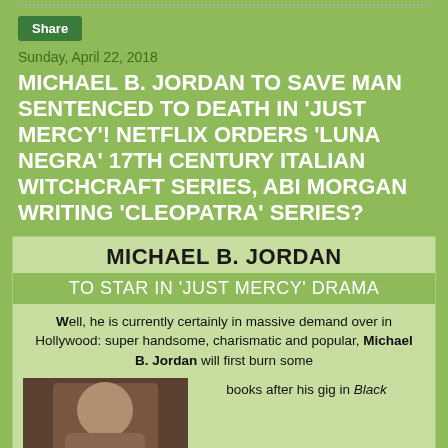[Figure (other): Dotted decorative line at top of page]
Share
Sunday, April 22, 2018
MICHAEL B. JORDAN TO SAVE MAN SENTENCED TO DEATH IN 'JUST MERCY'! NETFLIX ORDERS 'LUNA NEGRA' 17TH CENTURY ITALIAN WITCHCRAFT SERIES, ABI MORGAN WRITING 'CLEOPATRA' SERIES?
MICHAEL B. JORDAN
TO STAR IN 'JUST MERCY' DRAMA
Well, he is currently certainly in massive demand over in Hollywood: super handsome, charismatic and popular, Michael B. Jordan will first burn some
books after his gig in Black
[Figure (photo): Photo of Michael B. Jordan (partially visible, bottom of page)]